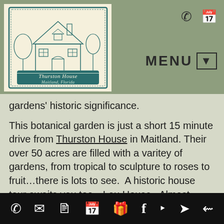[Figure (logo): Thurston House, Maitland, Florida — illustrated logo of a Victorian house with decorative border and script text]
MENU
gardens' historic significance.
This botanical garden is just a short 15 minute drive from Thurston House in Maitland. Their over 50 acres are filled with a varitey of gardens, from tropical to sculpture to roses to fruit…there is lots to see. A historic house tour awaits you too…Leu House. Almost every day someone gets married in the gardens. There are a lot of little quiet areas with benches and
Bottom navigation bar with icons: phone, email, notes, calendar, gift, facebook, rss, navigation, share